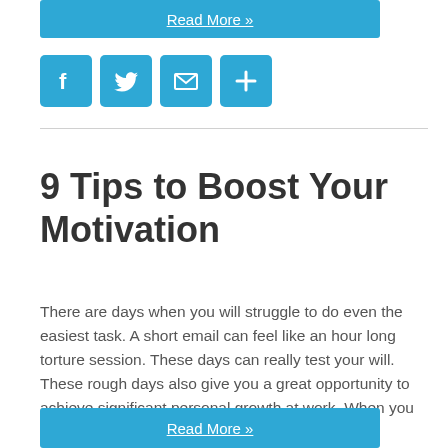Read More »
[Figure (other): Social media share buttons: Facebook, Twitter, Email, and a plus/more button, all in blue square icons]
9 Tips to Boost Your Motivation
There are days when you will struggle to do even the easiest task. A short email can feel like an hour long torture session. These days can really test your will. These rough days also give you a great opportunity to achieve significant personal growth at work. When you are struggling the most, you should …
Read More »